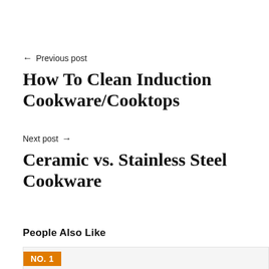← Previous post
How To Clean Induction Cookware/Cooktops
Next post →
Ceramic vs. Stainless Steel Cookware
People Also Like
NO. 1